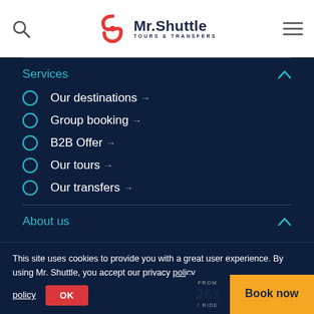Mr. Shuttle - Tours & Transfers
Services
Our destinations →
Group booking →
B2B Offer →
Our tours →
Our transfers →
About us
This site uses cookies to provide you with a great user experience. By using Mr. Shuttle, you accept our privacy policy
FROM 26$ / RIDE   Book now